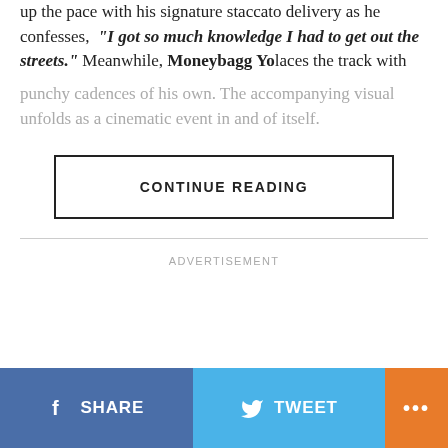up the pace with his signature staccato delivery as he confesses, “I got so much knowledge I had to get out the streets.” Meanwhile, Moneybagg Yo laces the track with punchy cadences of his own. The accompanying visual unfolds as a cinematic event in and of itself.
CONTINUE READING
ADVERTISEMENT
SHARE
TWEET